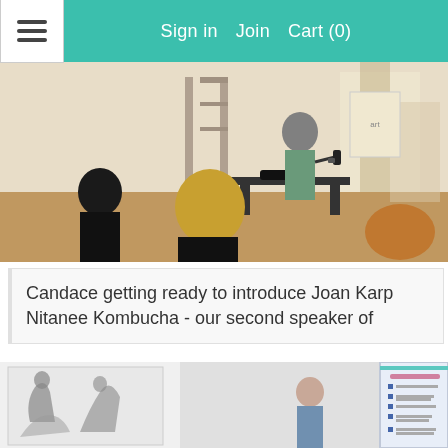Sign in  Join  Cart (0)
[Figure (photo): People seated in a studio/classroom setting, viewed from behind, with an instructor standing at the front holding a microphone. Pilates equipment visible in the background, warm wooden floors, curtains on windows.]
Candace getting ready to introduce Joan Karp Nitanee Kombucha - our second speaker of
[Figure (photo): A presenter standing in front of a projection screen showing a slide with bullet points. Artwork/sketches visible on the left wall.]